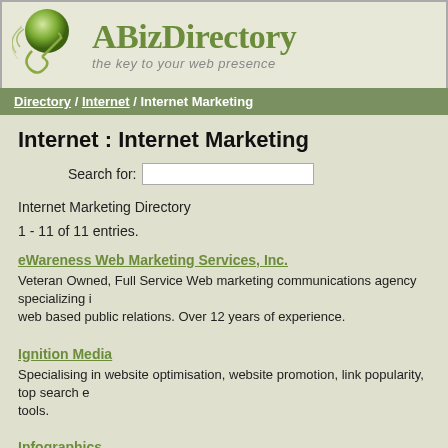[Figure (logo): ABizDirectory logo with green sphere/key icon and tagline 'the key to your web presence']
Directory / Internet / Internet Marketing
Internet : Internet Marketing
Search for:
Internet Marketing Directory
1 - 11 of 11 entries.
eWareness Web Marketing Services, Inc. - Veteran Owned, Full Service Web marketing communications agency specializing in web based public relations. Over 12 years of experience.
Ignition Media - Specialising in website optimisation, website promotion, link popularity, top search e tools.
Infographics - 97th Floor provides viral marketing services to help companies reach their online in http://www.97thfloor.